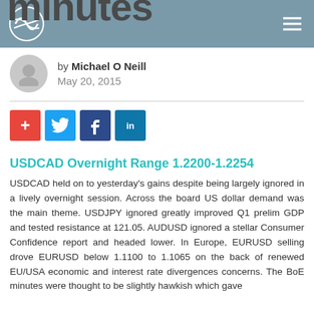minutes
by Michael O Neill
May 20, 2015
[Figure (infographic): Social share buttons: plus (+), Twitter bird, Facebook f, LinkedIn in]
USDCAD Overnight Range 1.2200-1.2254
USDCAD held on to yesterday's gains despite being largely ignored in a lively overnight session. Across the board US dollar demand was the main theme. USDJPY ignored greatly improved Q1 prelim GDP and tested resistance at 121.05. AUDUSD ignored a stellar Consumer Confidence report and headed lower. In Europe, EURUSD selling drove EURUSD below 1.1100 to 1.1065 on the back of renewed EU/USA economic and interest rate divergences concerns. The BoE minutes were thought to be slightly hawkish which gave